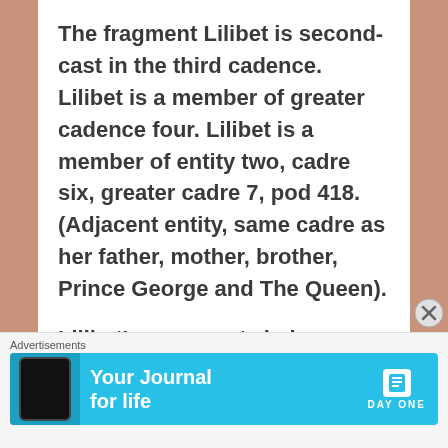The fragment Lilibet is second-cast in the third cadence.  Lilibet is a member of greater cadence four.  Lilibet is a member of entity two, cadre six, greater cadre 7, pod 418.  (Adjacent entity, same cadre as her father, mother, brother, Prince George and The Queen).
Lilibet's essence twin is a sage and the task companion a warrior incarnate at this time.
Advertisements — Your Journal for life — DAY ONE